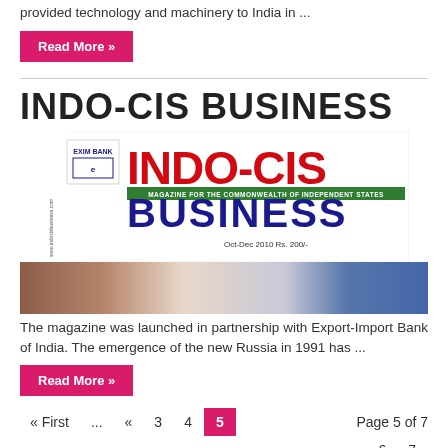provided technology and machinery to India in ...
Read More »
INDO-CIS BUSINESS
[Figure (logo): Indo-CIS Business magazine cover logo with Exim Bank branding, red INDO-CIS text, blue BUSINESS text, subtitle: Magazine for the Commonwealth of Independent States, Oct-Dec 2010, Rs. 200/-]
[Figure (photo): Partial photo of two people, one wearing a blue hat, with a blurred indoor background]
The magazine was launched in partnership with Export-Import Bank of India. The emergence of the new Russia in 1991 has ...
Read More »
« First ... « 3 4 5   Page 5 of 7  6 7